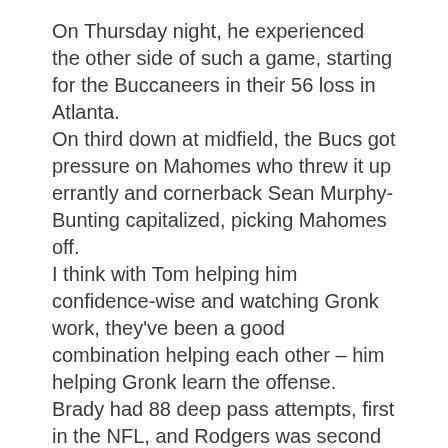On Thursday night, he experienced the other side of such a game, starting for the Buccaneers in their 56 loss in Atlanta.
On third down at midfield, the Bucs got pressure on Mahomes who threw it up errantly and cornerback Sean Murphy-Bunting capitalized, picking Mahomes off.
I think with Tom helping him confidence-wise and watching Gronk work, they've been a good combination helping each other – him helping Gronk learn the offense.
Brady had 88 deep pass attempts, first in the NFL, and Rodgers was second with 74.
It's not just the power game.
Sounds like a great dad son relationship.
Big left arrow icon Big right arrow icon Close icon Copy Url Three dots icon Down arrow icon Email icon Email icon Exit Fullscreen icon External link icon Facebook logo Football icon Facebook logo Instagram logo